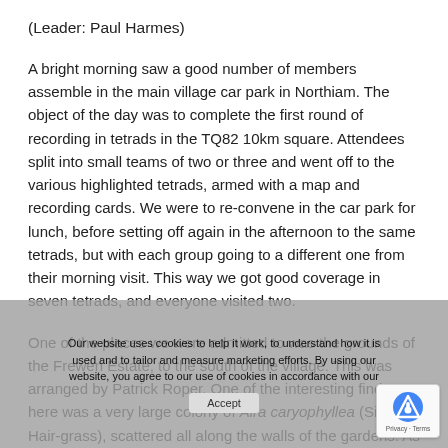(Leader: Paul Harmes)
A bright morning saw a good number of members assemble in the main village car park in Northiam. The object of the day was to complete the first round of recording in tetrads in the TQ82 10km square. Attendees split into small teams of two or three and went off to the various highlighted tetrads, armed with a map and recording cards. We were to re-convene in the car park for lunch, before setting off again in the afternoon to the same tetrads, but with each group going to a different one from their morning visit. This way we got good coverage in seven tetrads, and everyone visited two.
One of the places we were admitted to was the grounds of the Frewen Estate, to the south of the village. This was arranged by Patrick Roper. One of the interesting finds here was a very large colony of Aira caryophyllea (Silver Hair-grass), scattered all along the walls of the gardens. As was thought to be a diminishing species during Atlas recording, it was a very rewarding find. Secondly, there was
Our website uses cookies to help it work, to understand how it is used and to tailor and measure marketing efforts. By using our website, you agree to our use of cookies in accordance with our